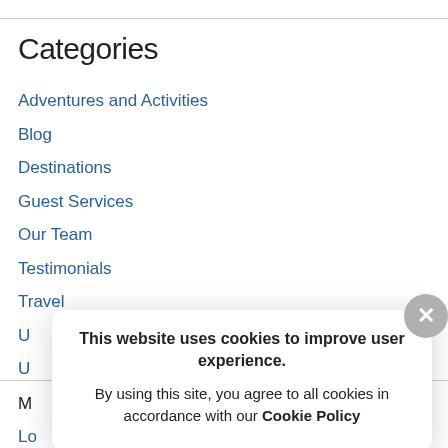Categories
Adventures and Activities
Blog
Destinations
Guest Services
Our Team
Testimonials
Travel
U…
U…
M…
Lo…
En…
This website uses cookies to improve user experience. By using this site, you agree to all cookies in accordance with our Cookie Policy